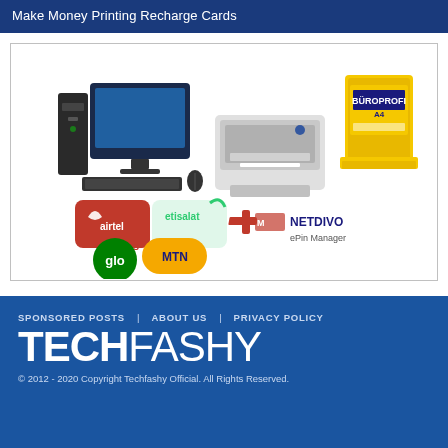Make Money Printing Recharge Cards
[Figure (illustration): Composite image showing a desktop computer with monitor and keyboard, a laser printer, a ream of A4 paper in yellow packaging, and below them: logos for Airtel ePins, Etisalat, Glo, MTN, and NETDIVO ePin Manager software.]
SPONSORED POSTS   ABOUT US   PRIVACY POLICY
TECHFASHY
© 2012 - 2020 Copyright Techfashy Official. All Rights Reserved.